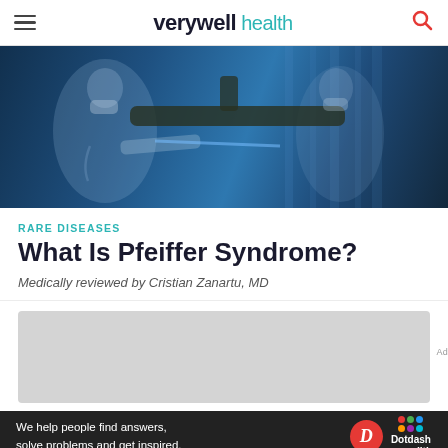verywell health
[Figure (photo): Two medical professionals in surgical gowns and masks working under blue UV-like lighting with a large medical arm/device overhead]
RARE DISEASES
What Is Pfeiffer Syndrome?
Medically reviewed by Cristian Zanartu, MD
[Figure (other): Gray advertisement placeholder box]
We help people find answers, solve problems and get inspired. Dotdash meredith